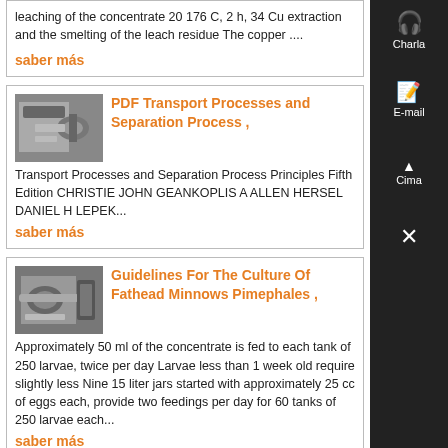leaching of the concentrate 20 176 C, 2 h, 34 Cu extraction and the smelting of the leach residue The copper ....
saber más
PDF Transport Processes and Separation Process ,
[Figure (photo): Thumbnail image of industrial equipment/pipes]
Transport Processes and Separation Process Principles Fifth Edition CHRISTIE JOHN GEANKOPLIS A ALLEN HERSEL DANIEL H LEPEK...
saber más
Guidelines For The Culture Of Fathead Minnows Pimephales ,
[Figure (photo): Thumbnail image of industrial pipes/equipment]
Approximately 50 ml of the concentrate is fed to each tank of 250 larvae, twice per day Larvae less than 1 week old require slightly less Nine 15 liter jars started with approximately 25 cc of eggs each, provide two feedings per day for 60 tanks of 250 larvae each...
saber más